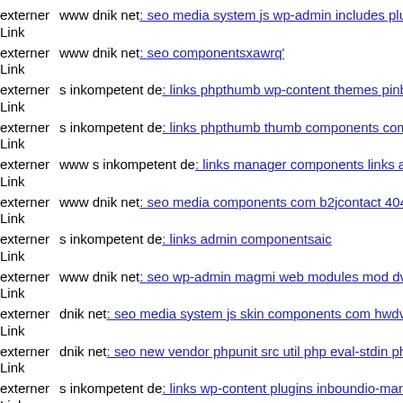externer Link www dnik net: seo media system js wp-admin includes plug
externer Link www dnik net: seo componentsxawrq'
externer Link s inkompetent de: links phpthumb wp-content themes pinbo
externer Link s inkompetent de: links phpthumb thumb components com
externer Link www s inkompetent de: links manager components links ap
externer Link www dnik net: seo media components com b2jcontact 404
externer Link s inkompetent de: links admin componentsaic
externer Link www dnik net: seo wp-admin magmi web modules mod dv
externer Link dnik net: seo media system js skin components com hwdvid
externer Link dnik net: seo new vendor phpunit src util php eval-stdin php
externer Link s inkompetent de: links wp-content plugins inboundio-mark